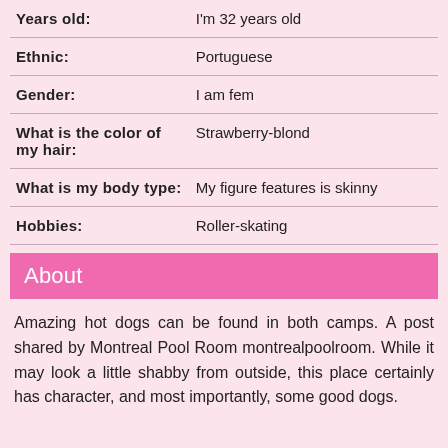| Field | Value |
| --- | --- |
| Years old: | I'm 32 years old |
| Ethnic: | Portuguese |
| Gender: | I am fem |
| What is the color of my hair: | Strawberry-blond |
| What is my body type: | My figure features is skinny |
| Hobbies: | Roller-skating |
About
Amazing hot dogs can be found in both camps. A post shared by Montreal Pool Room montrealpoolroom. While it may look a little shabby from outside, this place certainly has character, and most importantly, some good dogs.